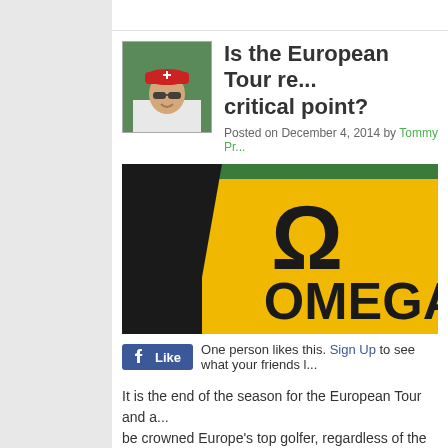[Figure (photo): Author photo: man wearing red hat with white cross (Swiss flag) and sunglasses, smiling, outdoors]
Is the European Tour reaching a critical point?
Posted on December 4, 2014 by Tommy Pr...
[Figure (photo): Close-up photo of a yellow/gold fabric or banner with the Omega brand logo (omega symbol and text OMEGA in dark letters)]
One person likes this. Sign Up to see what your friends l...
It is the end of the season for the European Tour and a... be crowned Europe's top golfer, regardless of the tour...
Not that McIlroy needed any encouragement to take it... par to hold the lead with fellow Irishman Shane Lowry. the minute. Perhaps he could do it in his sleep?